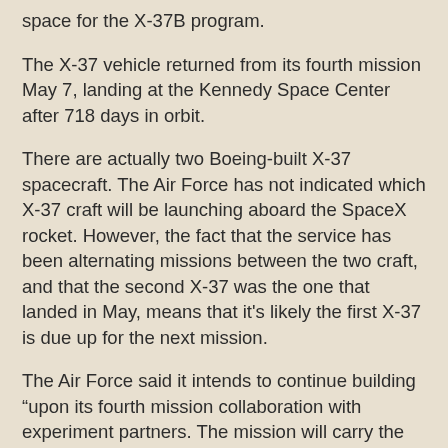space for the X-37B program.
The X-37 vehicle returned from its fourth mission May 7, landing at the Kennedy Space Center after 718 days in orbit.
There are actually two Boeing-built X-37 spacecraft. The Air Force has not indicated which X-37 craft will be launching aboard the SpaceX rocket. However, the fact that the service has been alternating missions between the two craft, and that the second X-37 was the one that landed in May, means that it's likely the first X-37 is due up for the next mission.
The Air Force said it intends to continue building “upon its fourth mission collaboration with experiment partners. The mission will carry the Air Force Research Laboratory (AFRL) Advanced Structurally Embedded Thermal Spreader (ASETS-11) to test experimental electronics and oscillating heat pipes in the long duration space environment.”
The X-37 is a secret Air Force program, with the first space plane launching on April 22, 2010 and spending roughly 224 days in orbit. The Air Force said that all together, the four missions have spent a total of 2,085 days in...